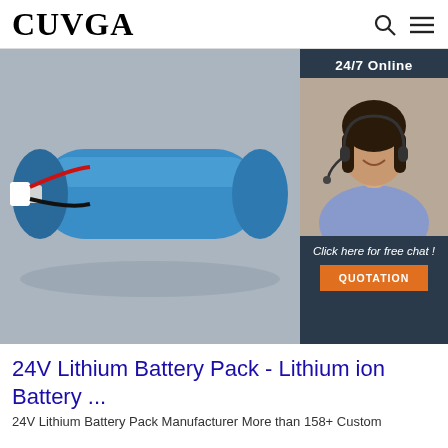CUVGA
[Figure (photo): A blue cylindrical lithium battery pack with red and black wires and a white connector plug, photographed against a grey background. An overlay panel on the right shows '24/7 Online', a customer service agent photo, 'Click here for free chat!' text, and an orange QUOTATION button.]
24V Lithium Battery Pack - Lithium ion Battery ...
24V Lithium Battery Pack Manufacturer More than 158+ Custom